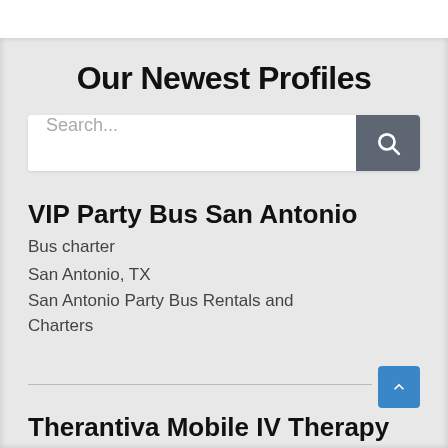Our Newest Profiles
[Figure (screenshot): Search bar with text input placeholder 'Search...' and a dark grey search button with magnifying glass icon]
VIP Party Bus San Antonio
Bus charter
San Antonio, TX
San Antonio Party Bus Rentals and Charters
Therantiva Mobile IV Therapy